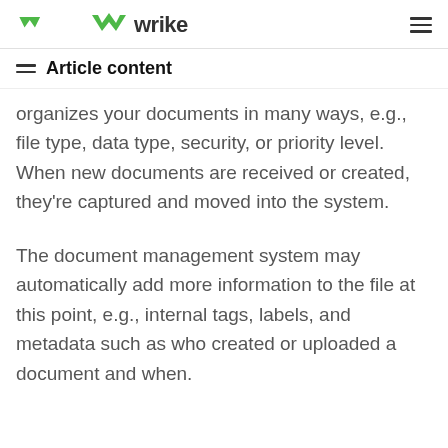wrike
Article content
organizes your documents in many ways, e.g., file type, data type, security, or priority level. When new documents are received or created, they're captured and moved into the system.
The document management system may automatically add more information to the file at this point, e.g., internal tags, labels, and metadata such as who created or uploaded a document and when.